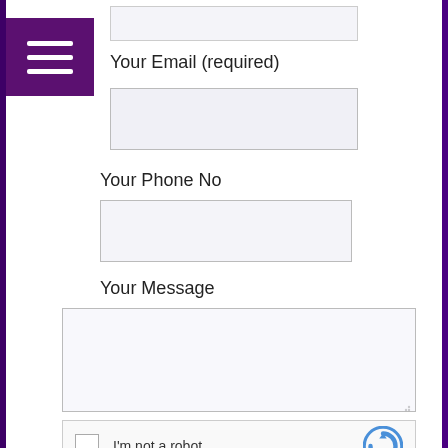[Figure (other): Purple hamburger/menu icon button in top-left corner]
Your Email (required)
[Figure (other): Email input text field (top, partially visible)]
[Figure (other): Email input text field]
Your Phone No
[Figure (other): Phone number input text field]
Your Message
[Figure (other): Message textarea input field]
[Figure (other): reCAPTCHA widget with checkbox and 'I'm not a robot' label]